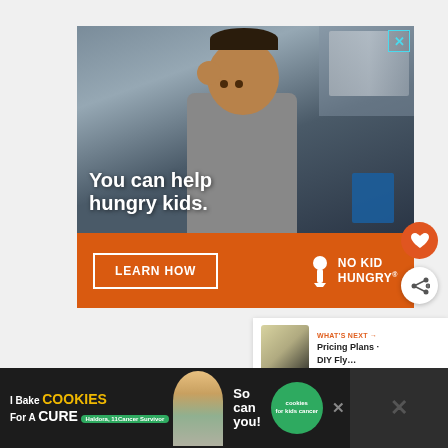[Figure (photo): Advertisement for No Kid Hungry. Top portion shows a young boy eating in a classroom with text 'You can help hungry kids.' overlaid in white. Bottom orange bar has 'LEARN HOW' button and No Kid Hungry logo.]
[Figure (infographic): Heart icon button (orange circle) and share icon button (white circle) on the right side.]
WHAT'S NEXT → Pricing Plans · DIY Fly...
[Figure (photo): Bottom banner advertisement: 'I Bake COOKIES For A CURE' featuring Haldora, 11 Cancer Survivor, with 'So can you!' and cookies for kids cancer badge.]